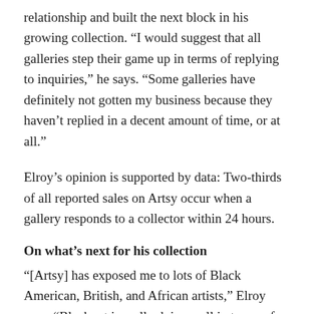relationship and built the next block in his growing collection. “I would suggest that all galleries step their game up in terms of replying to inquiries,” he says. “Some galleries have definitely not gotten my business because they haven’t replied in a decent amount of time, or at all.”
Elroy’s opinion is supported by data: Two-thirds of all reported sales on Artsy occur when a gallery responds to a collector within 24 hours.
On what’s next for his collection
“[Artsy] has exposed me to lots of Black American, British, and African artists,” Elroy says. “Black art is really doing well in terms of private collectors. Many of these artists’ works are on Artsy, and a lot of them just say ‘sold,’ ‘sold,’ ‘sold,’ which is good news for the growth and recognition of Black art. There’s